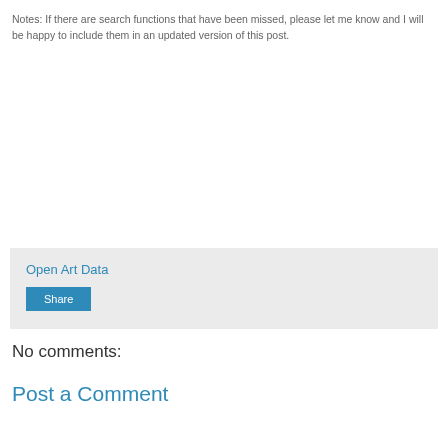Notes: If there are search functions that have been missed, please let me know and I will be happy to include them in an updated version of this post.
Open Art Data
Share
No comments:
Post a Comment